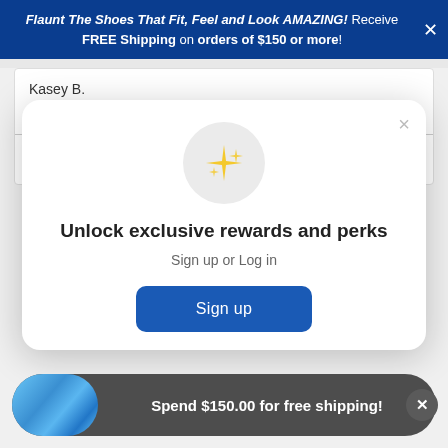Flaunt The Shoes That Fit, Feel and Look AMAZING! Receive FREE Shipping on orders of $150 or more!
Kasey B.
Verified Reviewer
Reviewing
Dana Clog: Light Gray
Unlock exclusive rewards and perks
Sign up or Log in
Sign up
Spend $150.00 for free shipping!